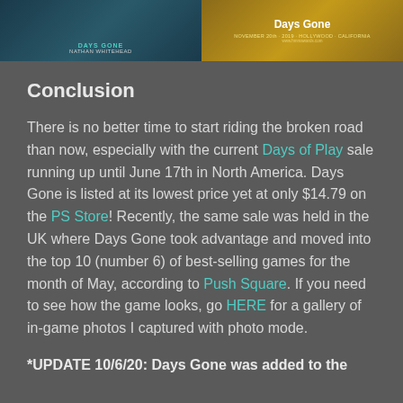[Figure (photo): Two side-by-side images related to Days Gone. Left image shows a dark teal/blue background with 'DAYS GONE' and 'NATHAN WHITEHEAD' text. Right image shows a golden/amber background with 'Days Gone' title and event details 'NOVEMBER 20th 2019 · HOLLYWOOD · CALIFORNIA' and a website URL.]
Conclusion
There is no better time to start riding the broken road than now, especially with the current Days of Play sale running up until June 17th in North America. Days Gone is listed at its lowest price yet at only $14.79 on the PS Store! Recently, the same sale was held in the UK where Days Gone took advantage and moved into the top 10 (number 6) of best-selling games for the month of May, according to Push Square. If you need to see how the game looks, go HERE for a gallery of in-game photos I captured with photo mode.
*UPDATE 10/6/20: Days Gone was added to the